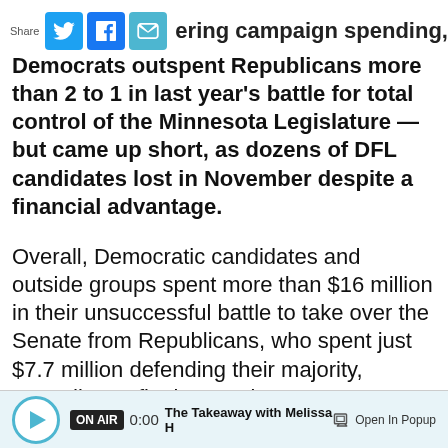[Figure (other): Share bar with Twitter, Facebook, and Email social icons]
ering campaign spending, Democrats outspent Republicans more than 2 to 1 in last year's battle for total control of the Minnesota Legislature — but came up short, as dozens of DFL candidates lost in November despite a financial advantage.
Overall, Democratic candidates and outside groups spent more than $16 million in their unsuccessful battle to take over the Senate from Republicans, who spent just $7.7 million defending their majority, according to final campaign reports released Tuesday.
In the House of Representatives, Democrats maintained their majority but lost seats, despite
[Figure (other): Audio player bar: ON AIR badge, 0:00 timestamp, The Takeaway with Melissa H, Open In Popup button]